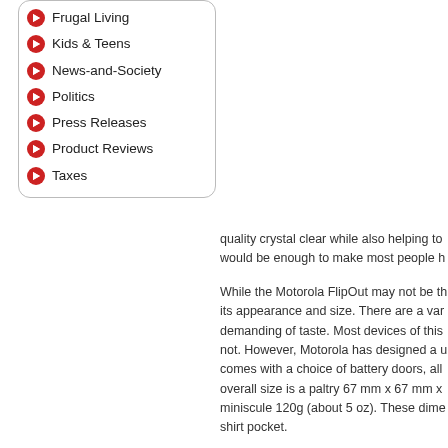Frugal Living
Kids & Teens
News-and-Society
Politics
Press Releases
Product Reviews
Taxes
quality crystal clear while also helping to would be enough to make most people h
While the Motorola FlipOut may not be th its appearance and size. There are a var demanding of taste. Most devices of this not. However, Motorola has designed a u comes with a choice of battery doors, all overall size is a paltry 67 mm x 67 mm x miniscule 120g (about 5 oz). These dime shirt pocket.
Probably the technology making the Mot FlipOut the most exciting to new users is radically new MotoBlur system. It will conveniently back up important informati email it to a secure server for retrieval b